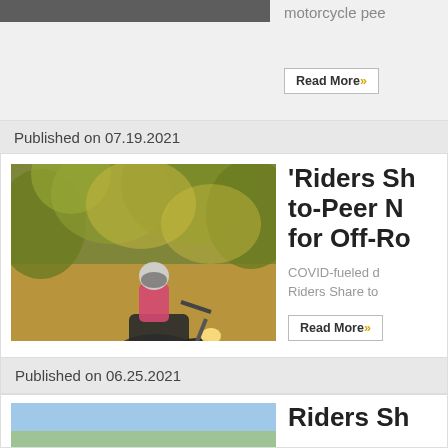[Figure (photo): Partial motorcycle article photo (cropped at top of page)]
motorcycle pee
Read More»
Published on 07.19.2021
[Figure (photo): Dirt bike / off-road motorcycle rider going through forest trail with dust and foliage]
'Riders Sh to-Peer M for Off-Ro
COVID-fueled d Riders Share to
Read More»
Published on 06.25.2021
Riders Sh